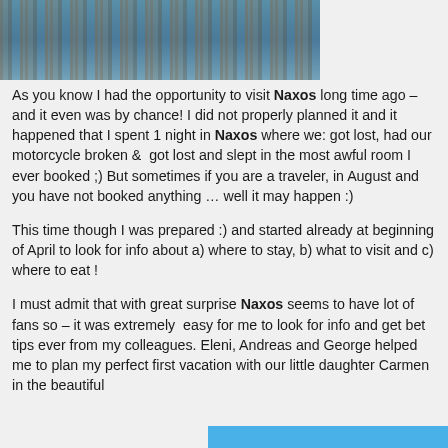[Figure (photo): Top portion of a coastal or waterfront scene with blue water and rocky/stone structures, cropped at the bottom of the image strip]
As you know I had the opportunity to visit Naxos long time ago – and it even was by chance! I did not properly planned it and it happened that I spent 1 night in Naxos where we: got lost, had our motorcycle broken &  got lost and slept in the most awful room I ever booked ;) But sometimes if you are a traveler, in August and you have not booked anything … well it may happen :)
This time though I was prepared :) and started already at beginning of April to look for info about a) where to stay, b) what to visit and c) where to eat !
I must admit that with great surprise Naxos seems to have lot of fans so – it was extremely  easy for me to look for info and get bet tips ever from my colleagues. Eleni, Andreas and George helped me to plan my perfect first vacation with our little daughter Carmen in the beautiful